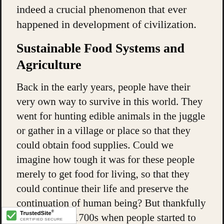from famine. The Agricultural Revolution was indeed a crucial phenomenon that ever happened in development of civilization.
Sustainable Food Systems and Agriculture
Back in the early years, people have their very own way to survive in this world. They went for hunting edible animals in the juggle or gather in a village or place so that they could obtain food supplies. Could we imagine how tough it was for these people merely to get food for living, so that they could continue their life and preserve the continuation of human being? But thankfully it changed in 1700s when people started to make agricultural revolution, by that means domesticated plants and animals so that